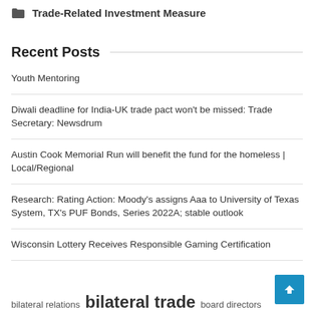Trade-Related Investment Measure
Recent Posts
Youth Mentoring
Diwali deadline for India-UK trade pact won't be missed: Trade Secretary: Newsdrum
Austin Cook Memorial Run will benefit the fund for the homeless | Local/Regional
Research: Rating Action: Moody's assigns Aaa to University of Texas System, TX's PUF Bonds, Series 2022A; stable outlook
Wisconsin Lottery Receives Responsible Gaming Certification
bilateral relations  bilateral trade  board directors